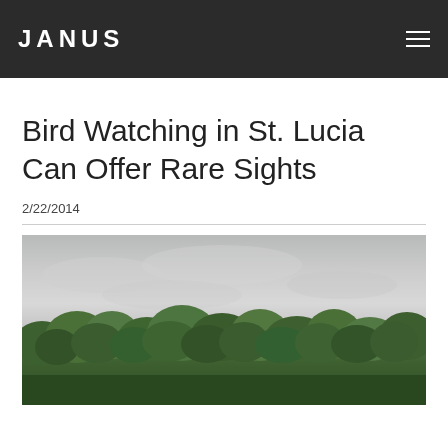JANUS
Bird Watching in St. Lucia Can Offer Rare Sights
2/22/2014
[Figure (photo): Landscape photograph showing dense green tropical forest/trees under an overcast grey sky]